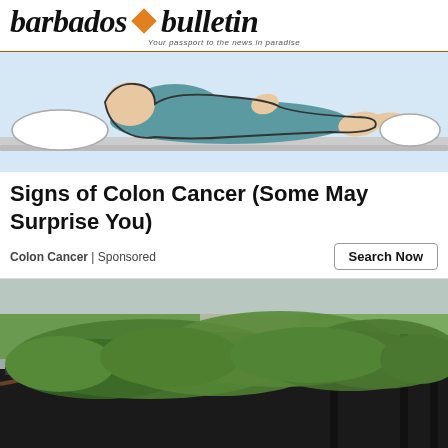barbados bulletin – Your passport to the news in paradise
[Figure (illustration): Illustration of a person lying on a bed or mat, showing a resting pose viewed from behind, on a light blue background.]
Signs of Colon Cancer (Some May Surprise You)
Colon Cancer | Sponsored
[Figure (photo): Outdoor photo of fallen tree branches loaded on a black metal trailer or truck bed, with a street and green lawn visible in the background.]